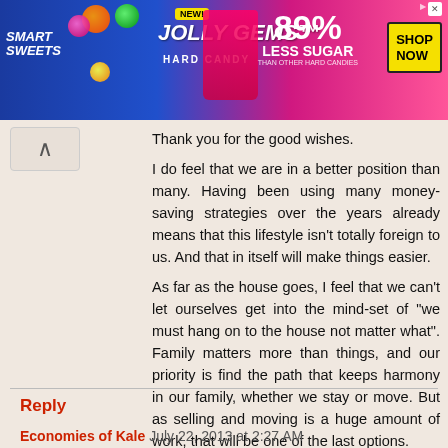[Figure (other): Smart Sweets Jolly Gems Hard Candy advertisement banner. Blue and pink background with colorful candy imagery. Text reads: SMART SWEETS, NEW!, JOLLY GEMS™ HARD CANDY, 89% LESS SUGAR THAN OTHER HARD CANDIES, SHOP NOW button.]
Thank you for the good wishes.
I do feel that we are in a better position than many. Having been using many money-saving strategies over the years already means that this lifestyle isn't totally foreign to us. And that in itself will make things easier.
As far as the house goes, I feel that we can't let ourselves get into the mind-set of "we must hang on to the house not matter what". Family matters more than things, and our priority is find the path that keeps harmony in our family, whether we stay or move. But as selling and moving is a huge amount of work, that will be one of the last options.
Reply
Economies of Kale July 22, 2013 at 2:27 AM